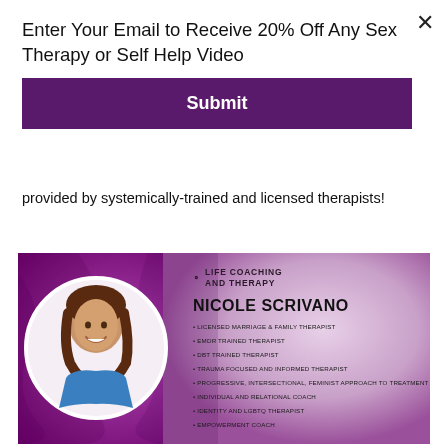Enter Your Email to Receive 20% Off Any Sex Therapy or Self Help Video
Submit
provided by systemically-trained and licensed therapists!
[Figure (photo): Profile card for Nicole Scrivano from Life Coaching and Therapy. Shows a photo of a woman with brown hair smiling, alongside her credentials: Licensed Marriage & Family Therapist, EMDR Trained Therapist, DBT Trained Therapist, Trauma Focused and Informed Therapist, Progressive Intersectional Feminist Approach to Treatment, Individual and Relational Coach, Identity and LGBTQ Therapist, Empowerment Coach.]